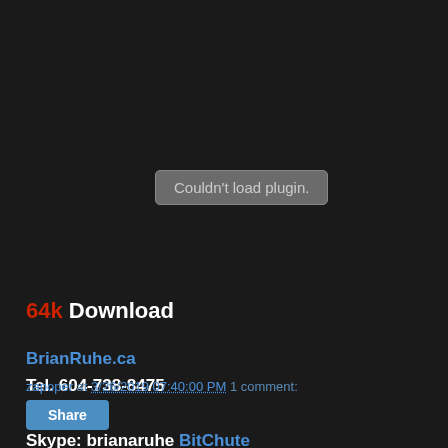[Figure (screenshot): Plugin placeholder box showing 'Couldn't load plugin.' on dark background]
64k Download
BrianRuhe.ca
Tel. 604-738-8475
YouTube
Skype: brianaruhe    BitChute
ThuleSociety.com
zapoper at 3/26/2019 07:40:00 PM    1 comment:
Share